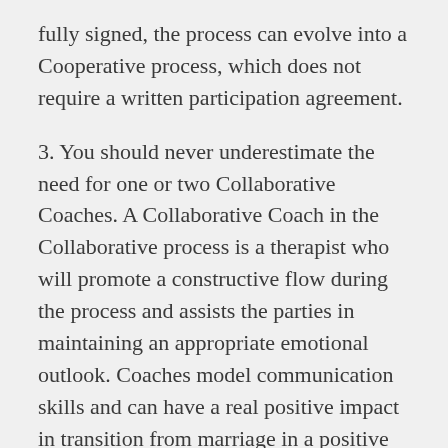fully signed, the process can evolve into a Cooperative process, which does not require a written participation agreement.
3. You should never underestimate the need for one or two Collaborative Coaches. A Collaborative Coach in the Collaborative process is a therapist who will promote a constructive flow during the process and assists the parties in maintaining an appropriate emotional outlook. Coaches model communication skills and can have a real positive impact in transition from marriage in a positive manner.
4. Skills and competence in interest-based negotiations and facilitative dialogue are best